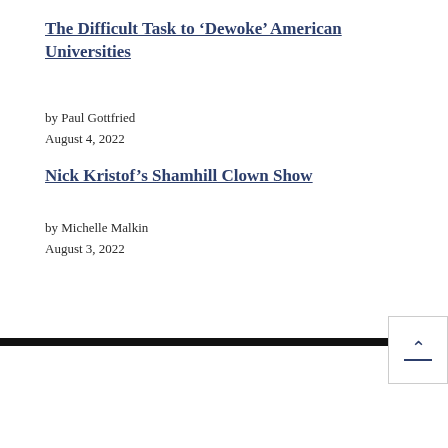The Difficult Task to 'Dewoke' American Universities
by Paul Gottfried
August 4, 2022
Nick Kristof's Shamhill Clown Show
by Michelle Malkin
August 3, 2022
Chronicles